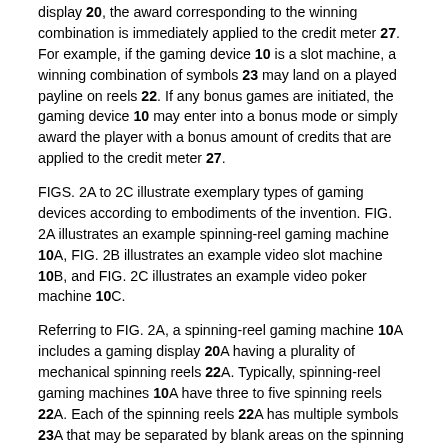display 20, the award corresponding to the winning combination is immediately applied to the credit meter 27. For example, if the gaming device 10 is a slot machine, a winning combination of symbols 23 may land on a played payline on reels 22. If any bonus games are initiated, the gaming device 10 may enter into a bonus mode or simply award the player with a bonus amount of credits that are applied to the credit meter 27.
FIGS. 2A to 2C illustrate exemplary types of gaming devices according to embodiments of the invention. FIG. 2A illustrates an example spinning-reel gaming machine 10A, FIG. 2B illustrates an example video slot machine 10B, and FIG. 2C illustrates an example video poker machine 10C.
Referring to FIG. 2A, a spinning-reel gaming machine 10A includes a gaming display 20A having a plurality of mechanical spinning reels 22A. Typically, spinning-reel gaming machines 10A have three to five spinning reels 22A. Each of the spinning reels 22A has multiple symbols 23A that may be separated by blank areas on the spinning reels 22A, although the presence of blank areas typically depends on the number of reels 22A present in the gaming